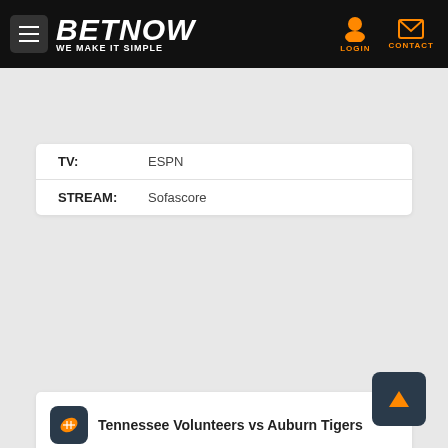BETNOW — WE MAKE IT SIMPLE
TV: ESPN
STREAM: Sofascore
Tennessee Volunteers vs Auburn Tigers 11/21/2020
| TEAM | SP/RL | TOTAL | ML |
| --- | --- | --- | --- |
| Volunteers | +11.5 (-110) | 51 o (-110) | +353 |
| Tigers | -11.5 (-110) | 51 u (-110) | -412 |